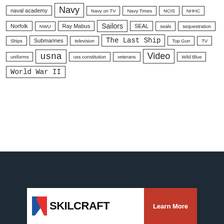naval academy
Navy
Navy on TV
Navy Times
NCIS
NHHC
Norfolk
NWU
Ray Mabus
Sailors
SEAL
seals
sequestration
Ships
Submarines
television
The Last Ship
Top Gun
TV
uniforms
usna
uss constitution
veterans
Video
Wild Blue
World War II
[Figure (logo): SKILCRAFT logo with diagonal stripe icon and Learn More red button]